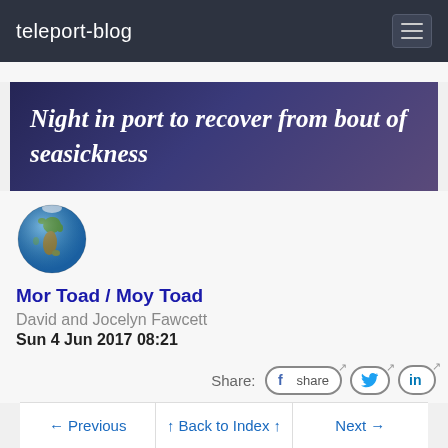teleport-blog
Night in port to recover from bout of seasickness
[Figure (illustration): Globe/Earth icon showing Europe and Africa]
Mor Toad / Moy Toad
David and Jocelyn Fawcett
Sun 4 Jun 2017 08:21
Share: share (Facebook) (Twitter) (LinkedIn)
← Previous   ↑ Back to Index ↑   Next →